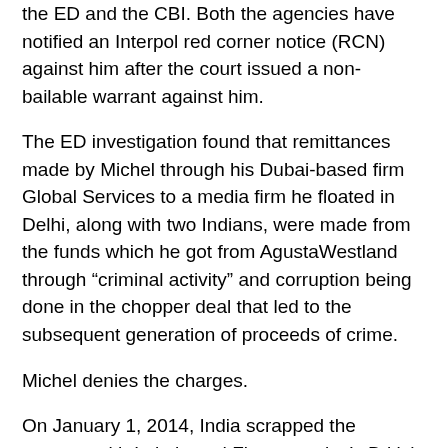the ED and the CBI. Both the agencies have notified an Interpol red corner notice (RCN) against him after the court issued a non-bailable warrant against him.
The ED investigation found that remittances made by Michel through his Dubai-based firm Global Services to a media firm he floated in Delhi, along with two Indians, were made from the funds which he got from AgustaWestland through “criminal activity” and corruption being done in the chopper deal that led to the subsequent generation of proceeds of crime.
Michel denies the charges.
On January 1, 2014, India scrapped the contract with Italy-based Finmeccanica’s British subsidiary AgustaWestland for supplying 12 AW-101 VVIP choppers to the IAF over alleged breach of contractual obligations